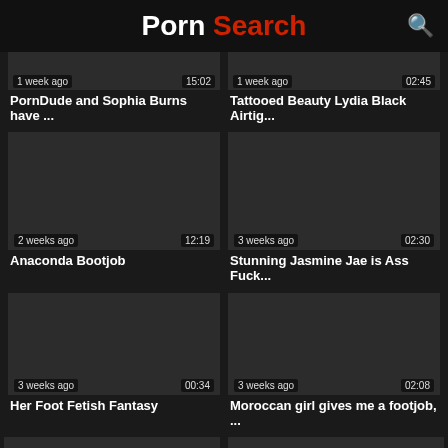Porn Search
[Figure (screenshot): Video thumbnail - dark, 1 week ago, 15:02]
PornDude and Sophia Burns have ...
[Figure (screenshot): Video thumbnail - dark, 1 week ago, 02:45]
Tattooed Beauty Lydia Black Airtig...
[Figure (screenshot): Video thumbnail - dark, 2 weeks ago, 12:19]
Anaconda Bootjob
[Figure (screenshot): Video thumbnail - dark, 3 weeks ago, 02:30]
Stunning Jasmine Jae is Ass Fuck...
[Figure (screenshot): Video thumbnail - dark, 3 weeks ago, 00:34]
Her Foot Fetish Fantasy
[Figure (screenshot): Video thumbnail - dark, 3 weeks ago, 02:08]
Moroccan girl gives me a footjob, ...